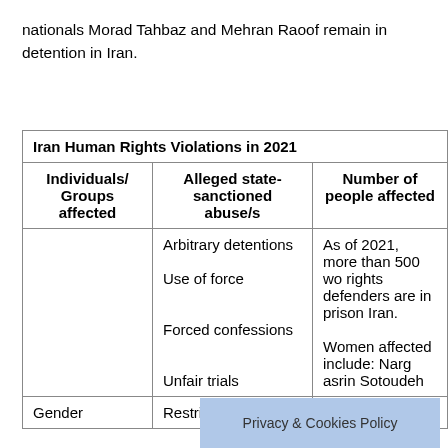nationals Morad Tahbaz and Mehran Raoof remain in detention in Iran.
| Individuals/ Groups affected | Alleged state-sanctioned abuse/s | Number of people affected |
| --- | --- | --- |
|  | Arbitrary detentions
Use of force

Forced confessions

Unfair trials | As of 2021, more than 500 wo rights defenders are in prison Iran. |
| Gender | Restricte | Women affected include: Narg asrin Sotoudeh |
Privacy & Cookies Policy